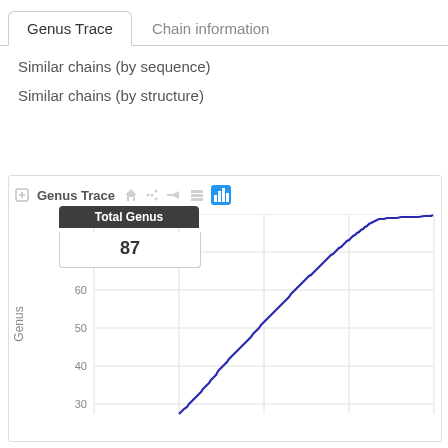Genus Trace | Chain information
Similar chains (by sequence)
Similar chains (by structure)
[Figure (continuous-plot): A cumulative step-line chart showing Total Genus count (87) accumulating over a sequence index. The line starts near 30 at the left and rises steeply to ~87 at the right end, with a tooltip showing 'Total Genus: 87'.]